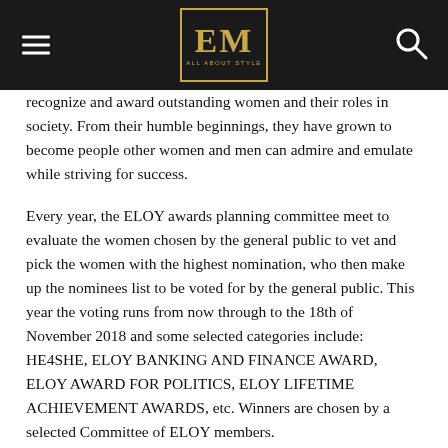EM ALL ABOUT STYLE
recognize and award outstanding women and their roles in society. From their humble beginnings, they have grown to become people other women and men can admire and emulate while striving for success.

Every year, the ELOY awards planning committee meet to evaluate the women chosen by the general public to vet and pick the women with the highest nomination, who then make up the nominees list to be voted for by the general public. This year the voting runs from now through to the 18th of November 2018 and some selected categories include: HE4SHE, ELOY BANKING AND FINANCE AWARD, ELOY AWARD FOR POLITICS, ELOY LIFETIME ACHIEVEMENT AWARDS, etc. Winners are chosen by a selected Committee of ELOY members.